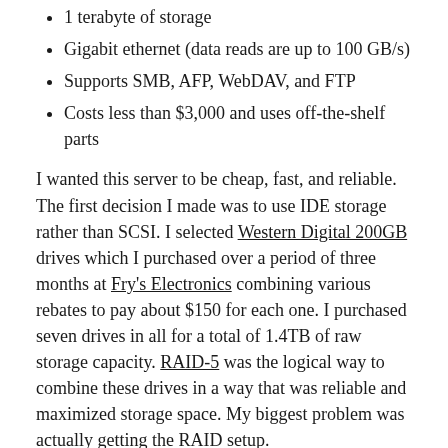1 terabyte of storage
Gigabit ethernet (data reads are up to 100 GB/s)
Supports SMB, AFP, WebDAV, and FTP
Costs less than $3,000 and uses off-the-shelf parts
I wanted this server to be cheap, fast, and reliable. The first decision I made was to use IDE storage rather than SCSI. I selected Western Digital 200GB drives which I purchased over a period of three months at Fry's Electronics combining various rebates to pay about $150 for each one. I purchased seven drives in all for a total of 1.4TB of raw storage capacity. RAID-5 was the logical way to combine these drives in a way that was reliable and maximized storage space. My biggest problem was actually getting the RAID setup.
I had initially planned on using the software RAID-5 implementation in Windows 2003 Server, but that failed. The problem wasn't Windows, it was the IDE controller